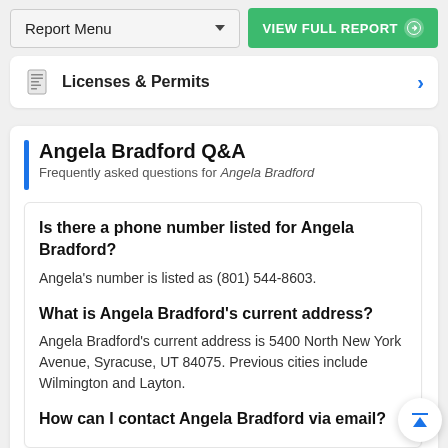Report Menu | VIEW FULL REPORT
Licenses & Permits
Angela Bradford Q&A
Frequently asked questions for Angela Bradford
Is there a phone number listed for Angela Bradford?
Angela's number is listed as (801) 544-8603.
What is Angela Bradford's current address?
Angela Bradford's current address is 5400 North New York Avenue, Syracuse, UT 84075. Previous cities include Wilmington and Layton.
How can I contact Angela Bradford via email?